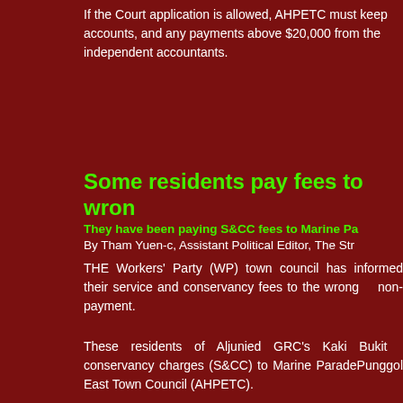If the Court application is allowed, AHPETC must keep accounts, and any payments above $20,000 from the independent accountants.
Some residents pay fees to wron
They have been paying S&CC fees to Marine Pa
By Tham Yuen-c, Assistant Political Editor, The Str
THE Workers' Party (WP) town council has informed their service and conservancy fees to the wrong non-payment.
These residents of Aljunied GRC's Kaki Bukit conservancy charges (S&CC) to Marine Parade Punggol East Town Council (AHPETC).